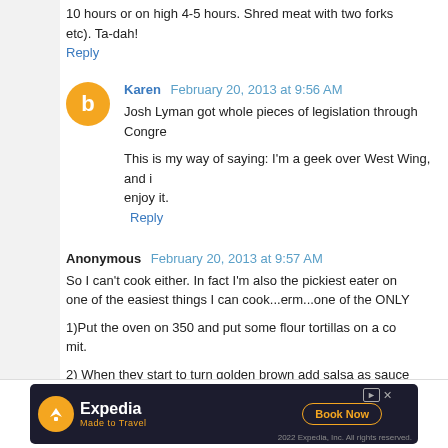10 hours or on high 4-5 hours. Shred meat with two forks etc). Ta-dah!
Reply
Karen  February 20, 2013 at 9:56 AM
Josh Lyman got whole pieces of legislation through Congre...
This is my way of saying: I'm a geek over West Wing, and i... enjoy it.
Reply
Anonymous  February 20, 2013 at 9:57 AM
So I can't cook either. In fact I'm also the pickiest eater on ... one of the easiest things I can cook...erm...one of the ONLY
1)Put the oven on 350 and put some flour tortillas on a co... mit.
2) When they start to turn golden brown add salsa as sauce
3) bake until cheese melts and VIOLA instant yumn... you're eating, very little clean up or prep needed.
[Figure (infographic): Expedia advertisement banner: dark background with Expedia logo, orange airplane icon, 'Made to Travel' tagline, 'Book Now' button, and 2022 copyright notice.]